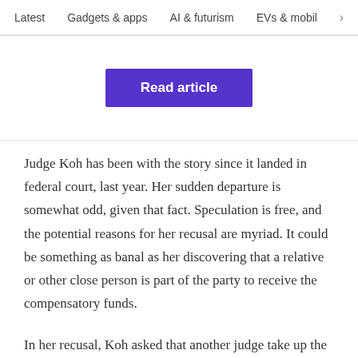Latest   Gadgets & apps   AI & futurism   EVs & mobil  >
[Figure (screenshot): Purple 'Read article' button on a white card area]
Judge Koh has been with the story since it landed in federal court, last year. Her sudden departure is somewhat odd, given that fact. Speculation is free, and the potential reasons for her recusal are myriad. It could be something as banal as her discovering that a relative or other close person is part of the party to receive the compensatory funds.
In her recusal, Koh asked that another judge take up the case. In all likelihood, this sudden turn of event will only result in a slight delay in the conclusion of the case...